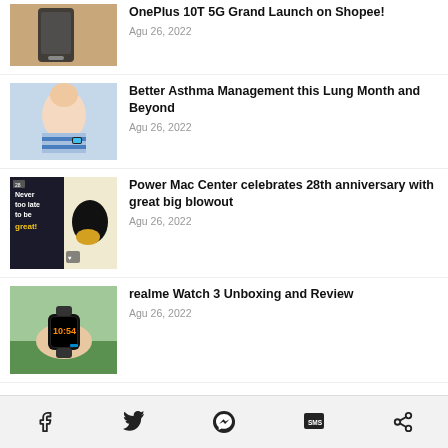[Figure (photo): Partial article thumbnail: smartphone on golden fur background]
OnePlus 10T 5G Grand Launch on Shopee!
Agu 26, 2022
[Figure (photo): Article thumbnail: baby wearing a smartwatch]
Better Asthma Management this Lung Month and Beyond
Agu 26, 2022
[Figure (photo): Article thumbnail: Power Mac Center 28th anniversary promotional image]
Power Mac Center celebrates 28th anniversary with great big blowout
Agu 26, 2022
[Figure (photo): Article thumbnail: hand wearing realme Watch 3]
realme Watch 3 Unboxing and Review
Agu 26, 2022
PRICE LIST
Social share bar: Facebook, Twitter, Messenger, SMS, Share